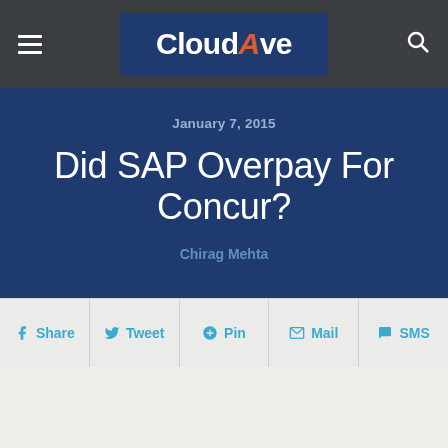CloudAve
January 7, 2015
Did SAP Overpay For Concur?
Chirag Mehta
Share
Tweet
Pin
Mail
SMS